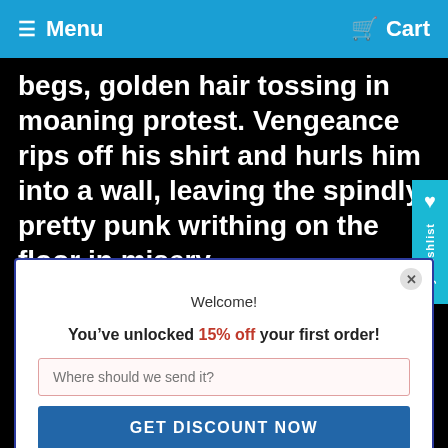Menu   Cart
begs, golden hair tossing in moaning protest. Vengeance rips off his shirt and hurls him into a wall, leaving the spindly, pretty punk writhing on the floor in misery.

“Up! UP!” commands Vengeance, forcing the pu… to his feet by his hair, and hoisting him over one muscular shoulder…shoes kicking helplessly. The
Welcome!

You’ve unlocked 15% off your first order!

Where should we send it?

GET DISCOUNT NOW